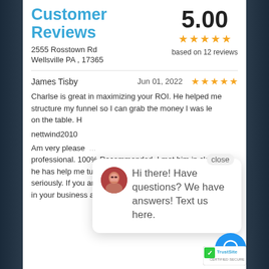Customer Reviews
2555 Rosstown Rd
Wellsville PA , 17365
5.00
based on 12 reviews
James Tisby    Jun 01, 2022    ★★★★★
Charlse is great in maximizing your ROI. He helped me structure my funnel so I can grab the money I was leaving on the table. H
nettwind2010
Am very please... professional. 100% Recommended. I met him in class and he has help me turning in my assignment . He take hi seriously. If you are seeking for a for someone to h in your business and take it to the next level. Charl
[Figure (screenshot): Chat popup with avatar and text: Hi there! Have questions? We have answers! Text us here. With a close button and a blue chat button with speech bubble icon, and TrustSite certified secure badge.]